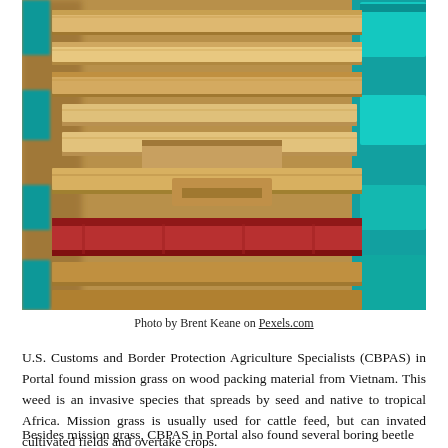[Figure (photo): Stacked wooden pallets with some painted teal/turquoise and red, photographed close-up with shallow depth of field]
Photo by Brent Keane on Pexels.com
U.S. Customs and Border Protection Agriculture Specialists (CBPAS) in Portal found mission grass on wood packing material from Vietnam. This weed is an invasive species that spreads by seed and native to tropical Africa. Mission grass is usually used for cattle feed, but can invated cultivated fields and overtake crops.
Besides mission grass, CBPAS in Portal also found several boring beetle